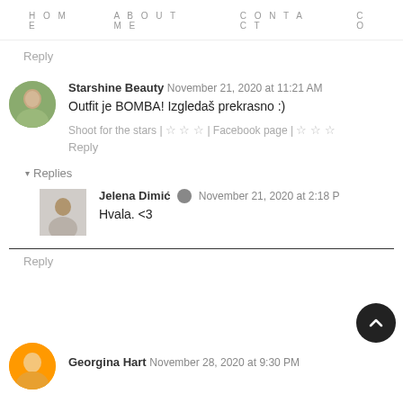HOME   ABOUT ME   CONTACT   CO
Reply
Starshine Beauty  November 21, 2020 at 11:21 AM
Outfit je BOMBA! Izgledaš prekrasno :)
Shoot for the stars | ☆ ☆ ☆ | Facebook page | ☆ ☆ ☆
Reply
▾ Replies
Jelena Dimić  November 21, 2020 at 2:18 PM
Hvala. <3
Reply
Georgina Hart  November 28, 2020 at 9:30 PM